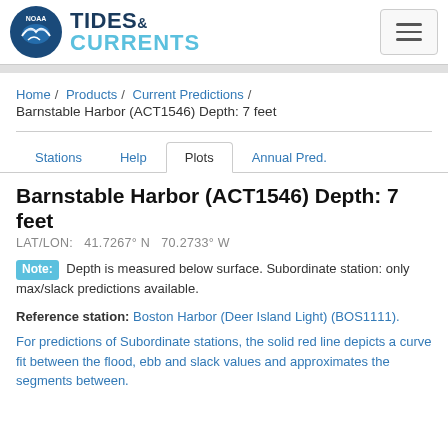NOAA TIDES & CURRENTS
Home / Products / Current Predictions / Barnstable Harbor (ACT1546) Depth: 7 feet
Stations  Help  Plots  Annual Pred.
Barnstable Harbor (ACT1546) Depth: 7 feet
LAT/LON:   41.7267° N   70.2733° W
Note: Depth is measured below surface. Subordinate station: only max/slack predictions available.
Reference station: Boston Harbor (Deer Island Light) (BOS1111).
For predictions of Subordinate stations, the solid red line depicts a curve fit between the flood, ebb and slack values and approximates the segments between.